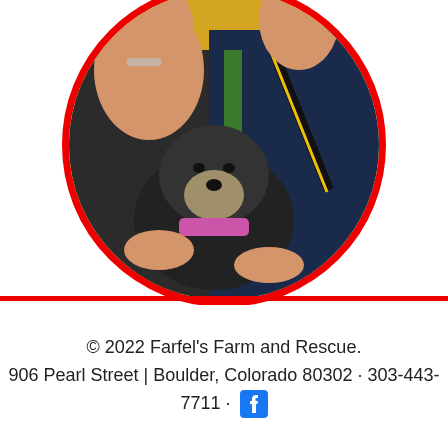[Figure (photo): A circular photo with a thick red border showing two people (a young girl with braces and an adult wearing a dark navy jersey with a Nikon camera strap) holding a small black and grey dog. The background is yellow/golden.]
© 2022 Farfel's Farm and Rescue. 906 Pearl Street | Boulder, Colorado 80302 · 303-443-7711 · [Facebook icon]